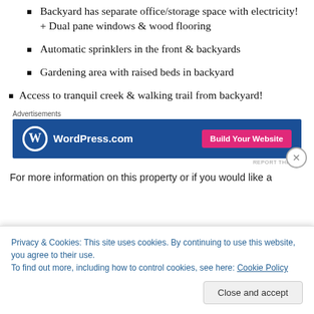Backyard has separate office/storage space with electricity! + Dual pane windows & wood flooring
Automatic sprinklers in the front & backyards
Gardening area with raised beds in backyard
Access to tranquil creek & walking trail from backyard!
[Figure (screenshot): WordPress.com advertisement banner with blue background, WordPress logo, and pink 'Build Your Website' button]
For more information on this property or if you would like a
Privacy & Cookies: This site uses cookies. By continuing to use this website, you agree to their use. To find out more, including how to control cookies, see here: Cookie Policy